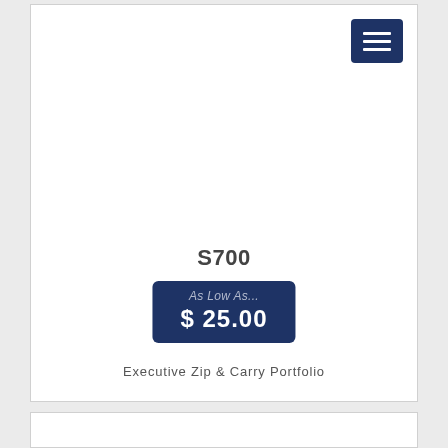[Figure (screenshot): Hamburger menu icon button with three white horizontal lines on dark navy blue background]
S700
As Low As... $ 25.00
Executive Zip & Carry Portfolio